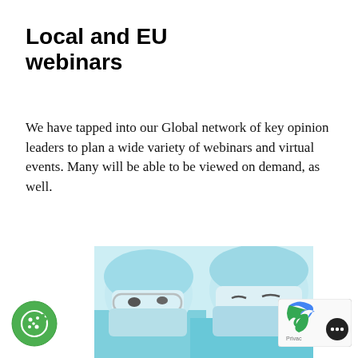Local and EU webinars
We have tapped into our Global network of key opinion leaders to plan a wide variety of webinars and virtual events. Many will be able to be viewed on demand, as well.
[Figure (photo): Two surgeons in blue scrubs, surgical masks, caps and glasses looking downward, holding surgical instruments including scissors and clamps.]
[Figure (logo): Cookie consent icon — green circle with a cookie illustration]
[Figure (logo): reCAPTCHA badge with blue arrow logo and Privac text, with dark circular button showing three dots]